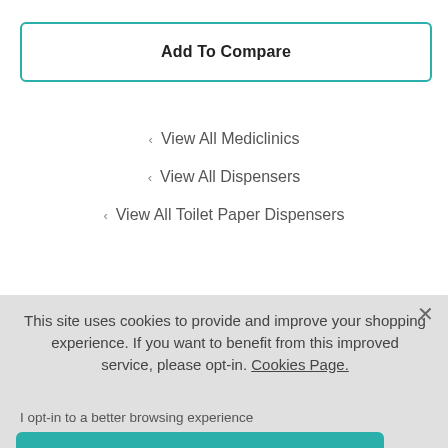Add To Compare
‹ View All Mediclinics
‹ View All Dispensers
‹ View All Toilet Paper Dispensers
This site uses cookies to provide and improve your shopping experience. If you want to benefit from this improved service, please opt-in. Cookies Page.
I opt-in to a better browsing experience
Accept Cookies
u Sign Up*
if your code doesn't 24hrs to arrive, if you act Us. To see how we Policy